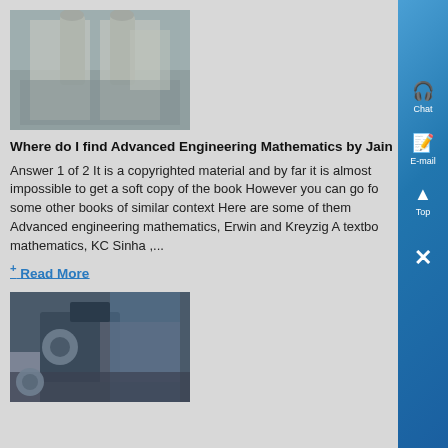[Figure (photo): Industrial building interior with large cylindrical equipment and ducting]
Where do I find Advanced Engineering Mathematics by Jain
Answer 1 of 2 It is a copyrighted material and by far it is almost impossible to get a soft copy of the book However you can go for some other books of similar context Here are some of them Advanced engineering mathematics, Erwin and Kreyzig A textbo mathematics, KC Sinha ,...
+ Read More
[Figure (photo): Industrial machinery or equipment inside a factory building]